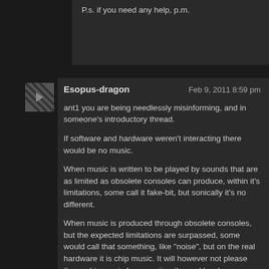P.s. if you need any help, p.m.
Esopus-dragon
Feb 9, 2011 8:59 pm
ant1 you are being needlessly misinforming, and in someone's introductory thread.
If software and hardware weren't interacting there would be no music.
When music is written to be played by sounds that are as limited as obsolete consoles can produce, within it's limitations, some call it fake-bit, but sonically it's no different.
When music is produced through obsolete consoles, but the expected limitations are surpassed, some would call that something, like "noise", but on the real hardware it is chip music. It will however not please those chip music fans wanting the real hardware. Ironic though.
Sometimes people just want arpeggios on pulse waves like noted video game companies put in games. This is clear outside